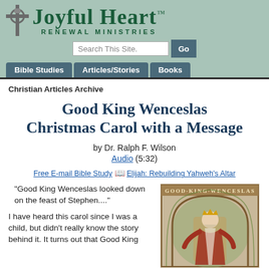[Figure (logo): Joyful Heart Renewal Ministries logo with Celtic cross and green text]
Christian Articles Archive
Good King Wenceslas Christmas Carol with a Message
by Dr. Ralph F. Wilson
Audio (5:32)
Free E-mail Bible Study 📖 Elijah: Rebuilding Yahweh's Altar
"Good King Wenceslas looked down
on the feast of Stephen...."
I have heard this carol since I was a child, but didn't really know the story behind it. It turns out that Good King
[Figure (illustration): Medieval illuminated illustration of Good King Wenceslas seated on throne with crown, text 'GOOD KING WENCESLAS' at top]